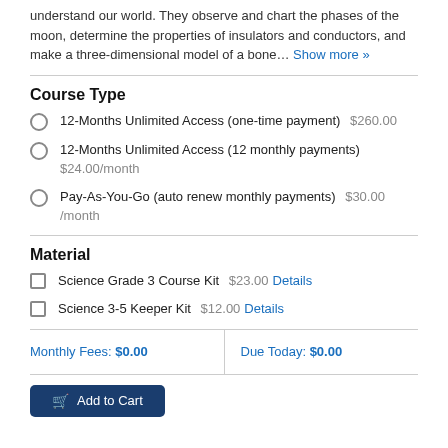understand our world. They observe and chart the phases of the moon, determine the properties of insulators and conductors, and make a three-dimensional model of a bone… Show more »
Course Type
12-Months Unlimited Access (one-time payment) $260.00
12-Months Unlimited Access (12 monthly payments) $24.00/month
Pay-As-You-Go (auto renew monthly payments) $30.00 /month
Material
Science Grade 3 Course Kit $23.00 Details
Science 3-5 Keeper Kit $12.00 Details
Monthly Fees: $0.00    Due Today: $0.00
Add to Cart